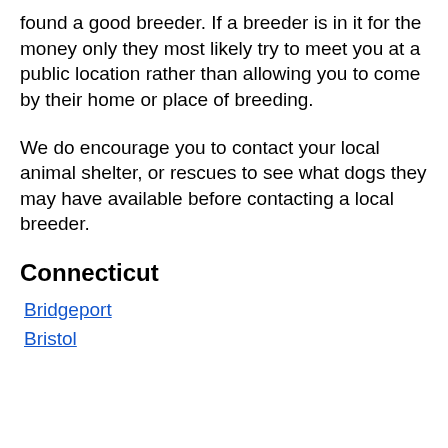found a good breeder. If a breeder is in it for the money only they most likely try to meet you at a public location rather than allowing you to come by their home or place of breeding.
We do encourage you to contact your local animal shelter, or rescues to see what dogs they may have available before contacting a local breeder.
Connecticut
Bridgeport
Bristol